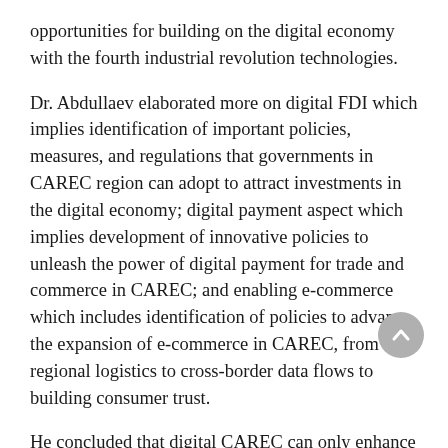opportunities for building on the digital economy with the fourth industrial revolution technologies.
Dr. Abdullaev elaborated more on digital FDI which implies identification of important policies, measures, and regulations that governments in CAREC region can adopt to attract investments in the digital economy; digital payment aspect which implies development of innovative policies to unleash the power of digital payment for trade and commerce in CAREC; and enabling e-commerce which includes identification of policies to advance the expansion of e-commerce in CAREC, from regional logistics to cross-border data flows to building consumer trust.
He concluded that digital CAREC can only enhance regional cooperation and magnify opportunities.